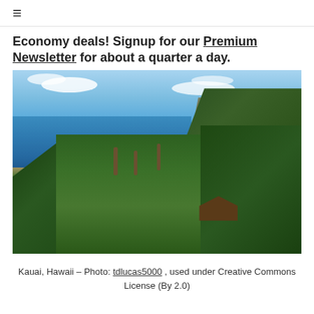☰
Economy deals! Signup for our Premium Newsletter for about a quarter a day.
[Figure (photo): Aerial view of Kauai, Hawaii showing a tropical beach cove with turquoise ocean, sandy shore, palm trees, lush green vegetation, and a rocky cliff headland under a partly cloudy blue sky.]
Kauai, Hawaii – Photo: tdlucas5000 , used under Creative Commons License (By 2.0)